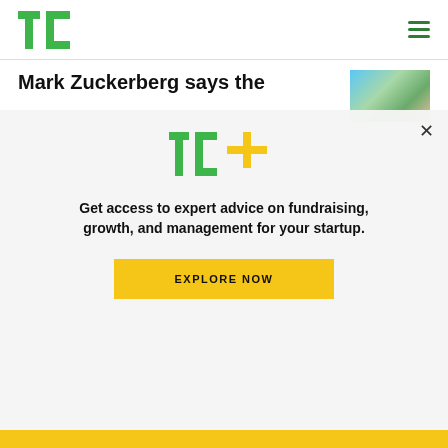TechCrunch TC logo and navigation
Mark Zuckerberg says the
[Figure (photo): Thumbnail image of people, appears to be article illustration]
[Figure (logo): TC+ logo in green with yellow plus sign]
Get access to expert advice on fundraising, growth, and management for your startup.
EXPLORE NOW